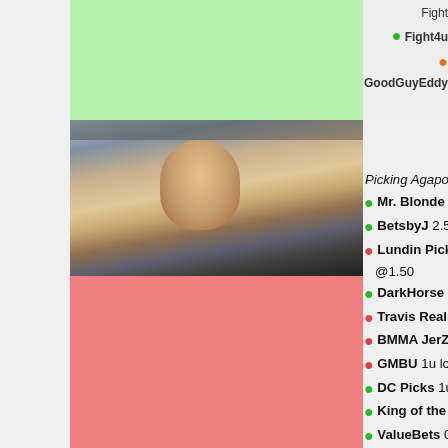[Figure (other): Top section with green box background and legend showing Fight4u and GoodGuyEddy labels with colored dots]
Fight
● Fight4u
● GoodGuyEddy
[Figure (photo): Photo of female MMA fighter Mariya Agapova looking upward]
[Figure (other): Red/salmon colored background block below fighter photo]
W S Mariya A
Result: Maryna Mo
Picking Agapova straight up
● Mr. Blonde 1.68u lost -1.68u @1.71
● BetsbyJ 2.5u lost -2.5u @1.52
● Lundin Picking Spots and Taking Shots 1 @1.50
● DarkHorse MMAus 1.65u lost -1.65u @1.5
● Travis Realman 10u lost -10u @1.50
● BMMA JerZeyC 1.5u lost -1.5u @1.48
● GMBU 1u lost -1u @1.51
● DC Picks 1u lost -1u @1.51
● King of the Casuals 5u lost -5u @1.50
● ValueBets 0.1u lost -0.1u @1.50
● Corn Bread 11u lost -11u @1.50
● PerfectPunch 7u lost -7u @1.50
● PolishPrinceMMA 10u lost -10u @1.50
● Timmy 4u lost -4u @1.50
● Joey Jiu Jitsu 3u lost -3u @1.53
● d3tails User 5u lost -5u @1.55
● The Norseman Bet 3.5u lost -3.5u @1.54
● 6u lost -6u @1.56
● BlueWhalePicks 11u lost -11u @1.58